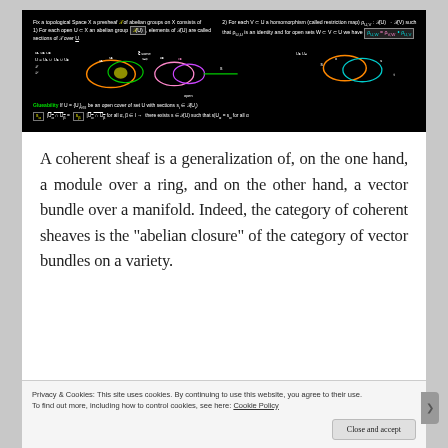[Figure (screenshot): Blackboard-style diagram explaining presheaves/sheaves on topological spaces, showing definitions of presheaf, restriction maps, open covers, gluing axiom, with colored loop/knot diagrams illustrating sections over open sets.]
A coherent sheaf is a generalization of, on the one hand, a module over a ring, and on the other hand, a vector bundle over a manifold. Indeed, the category of coherent sheaves is the “abelian closure” of the category of vector bundles on a variety.
Privacy & Cookies: This site uses cookies. By continuing to use this website, you agree to their use.
To find out more, including how to control cookies, see here: Cookie Policy
Close and accept